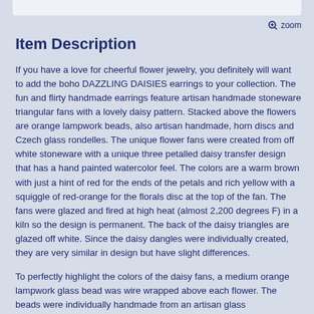Item Description
If you have a love for cheerful flower jewelry, you definitely will want to add the boho DAZZLING DAISIES earrings to your collection.  The fun and flirty handmade earrings feature artisan handmade stoneware triangular fans with a lovely daisy pattern. Stacked above the flowers are orange lampwork beads, also artisan handmade, horn discs and Czech glass rondelles.  The unique flower fans were created from off white stoneware with a unique three petalled daisy transfer design that has a hand painted watercolor feel. The colors are a warm brown with just a hint of red for the ends of the petals and rich yellow with a squiggle of red-orange for the florals disc at the top of the fan.  The fans were glazed and fired at high heat (almost 2,200 degrees F) in a kiln so the design is permanent. The back of the daisy triangles are glazed off white. Since the daisy dangles were individually created, they are very similar in design but have slight differences.
To perfectly highlight the colors of the daisy fans, a medium orange lampwork glass bead was wire wrapped above each flower. The beads were individually handmade from an artisan glass